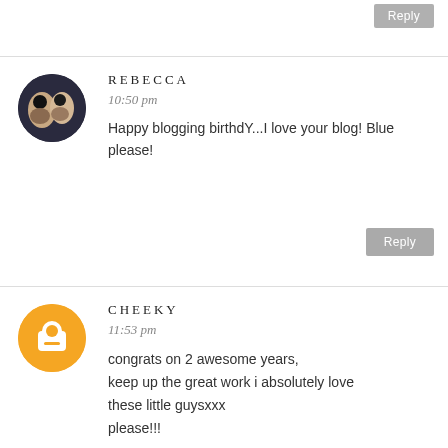Reply
REBECCA
10:50 pm
Happy blogging birthdY...I love your blog! Blue please!
Reply
CHEEKY
11:53 pm
congrats on 2 awesome years, keep up the great work i absolutely love
these little guysxxx
please!!!